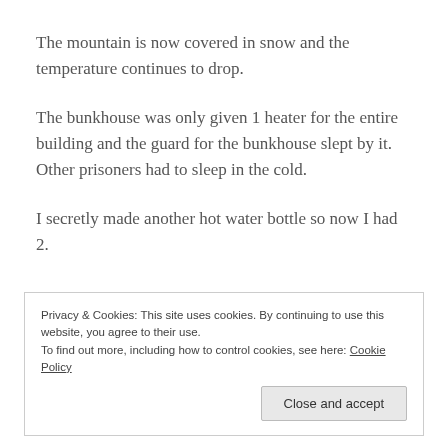The mountain is now covered in snow and the temperature continues to drop.
The bunkhouse was only given 1 heater for the entire building and the guard for the bunkhouse slept by it. Other prisoners had to sleep in the cold.
I secretly made another hot water bottle so now I had 2.
Privacy & Cookies: This site uses cookies. By continuing to use this website, you agree to their use.
To find out more, including how to control cookies, see here: Cookie Policy
Close and accept